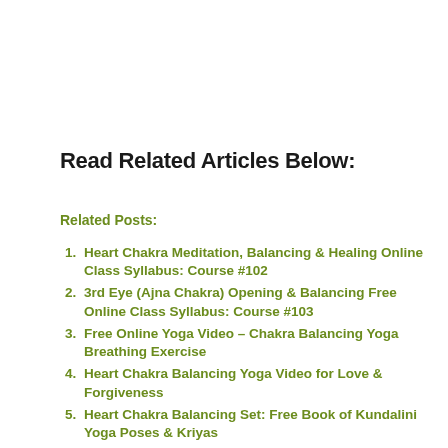Read Related Articles Below:
Related Posts:
Heart Chakra Meditation, Balancing & Healing Online Class Syllabus: Course #102
3rd Eye (Ajna Chakra) Opening & Balancing Free Online Class Syllabus: Course #103
Free Online Yoga Video – Chakra Balancing Yoga Breathing Exercise
Heart Chakra Balancing Yoga Video for Love & Forgiveness
Heart Chakra Balancing Set: Free Book of Kundalini Yoga Poses & Kriyas